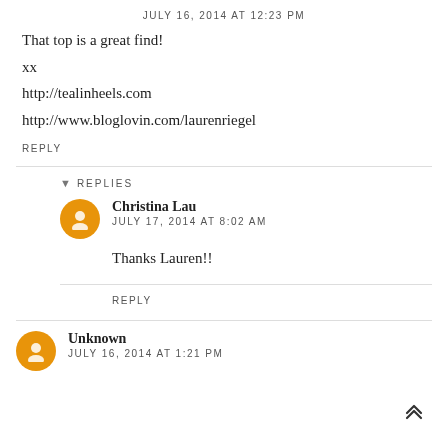JULY 16, 2014 AT 12:23 PM
That top is a great find!
xx
http://tealinheels.com
http://www.bloglovin.com/laurenriegel
REPLY
REPLIES
Christina Lau
JULY 17, 2014 AT 8:02 AM
Thanks Lauren!!
REPLY
Unknown
JULY 16, 2014 AT 1:21 PM